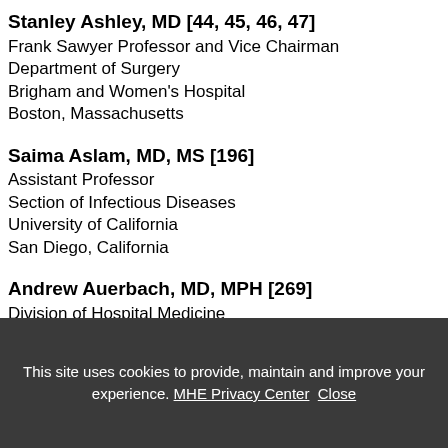Stanley Ashley, MD [44, 45, 46, 47]
Frank Sawyer Professor and Vice Chairman
Department of Surgery
Brigham and Women's Hospital
Boston, Massachusetts
Saima Aslam, MD, MS [196]
Assistant Professor
Section of Infectious Diseases
University of California
San Diego, California
Andrew Auerbach, MD, MPH [269]
Division of Hospital Medicine
University of California
This site uses cookies to provide, maintain and improve your experience. MHE Privacy Center Close